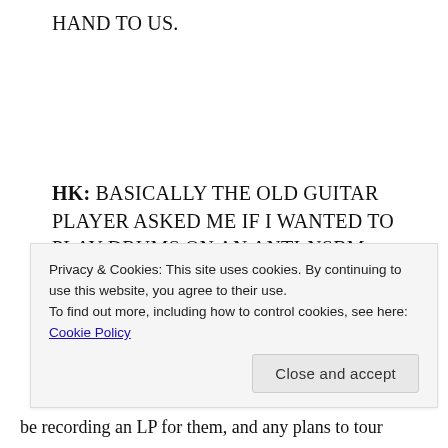HAND TO US.
HK: BASICALLY THE OLD GUITAR PLAYER ASKED ME IF I WANTED TO PLAY DRUMS ON AN ANTI-NSBM ALBUM AND AFTER HE SHOWED ME THE SONG TITLES I COULDN'T SAY NO. I WAS IN SEVERAL BANDS WITH HIM PRIOR TO NECKBEARD, BUT NONE WITH
Privacy & Cookies: This site uses cookies. By continuing to use this website, you agree to their use.
To find out more, including how to control cookies, see here: Cookie Policy
Close and accept
be recording an LP for them, and any plans to tour